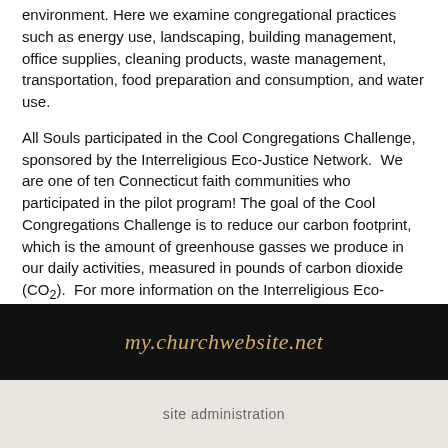environment. Here we examine congregational practices such as energy use, landscaping, building management, office supplies, cleaning products, waste management, transportation, food preparation and consumption, and water use.
All Souls participated in the Cool Congregations Challenge, sponsored by the Interreligious Eco-Justice Network. We are one of ten Connecticut faith communities who participated in the pilot program! The goal of the Cool Congregations Challenge is to reduce our carbon footprint, which is the amount of greenhouse gasses we produce in our daily activities, measured in pounds of carbon dioxide (CO2). For more information on the Interreligious Eco-Justice Network, check out their website at irejn.org.
my.churchwebsite.net
site administration